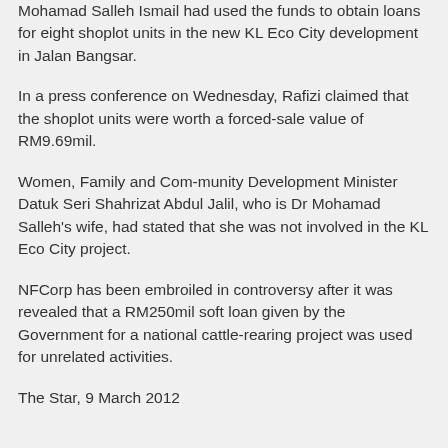Mohamad Salleh Ismail had used the funds to obtain loans for eight shoplot units in the new KL Eco City development in Jalan Bangsar.
In a press conference on Wednesday, Rafizi claimed that the shoplot units were worth a forced-sale value of RM9.69mil.
Women, Family and Com-munity Development Minister Datuk Seri Shahrizat Abdul Jalil, who is Dr Mohamad Salleh's wife, had stated that she was not involved in the KL Eco City project.
NFCorp has been embroiled in controversy after it was revealed that a RM250mil soft loan given by the Government for a national cattle-rearing project was used for unrelated activities.
The Star, 9 March 2012